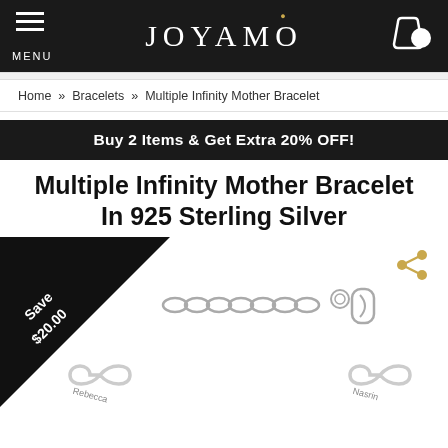JOYAMO
Home » Bracelets » Multiple Infinity Mother Bracelet
Buy 2 Items & Get Extra 20% OFF!
Multiple Infinity Mother Bracelet In 925 Sterling Silver
[Figure (photo): Close-up photo of a Multiple Infinity Mother Bracelet in 925 Sterling Silver showing the chain, lobster clasp, and two infinity symbol charms with engraved names. A 'Save $20.00' triangle badge is in the top-left corner and a share icon is in the top-right.]